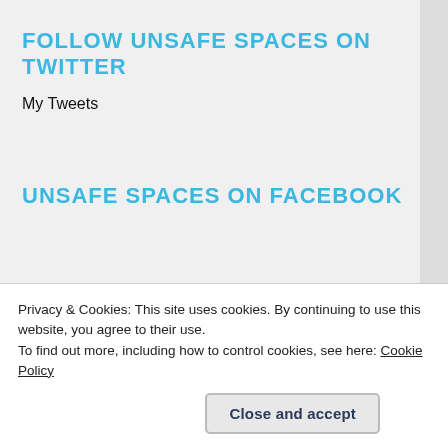FOLLOW UNSAFE SPACES ON TWITTER
My Tweets
UNSAFE SPACES ON FACEBOOK
RECENT COMMENTS
Ian W on ZKXK1sNU8DGm9Yzw36y8
Privacy & Cookies: This site uses cookies. By continuing to use this website, you agree to their use.
To find out more, including how to control cookies, see here: Cookie Policy